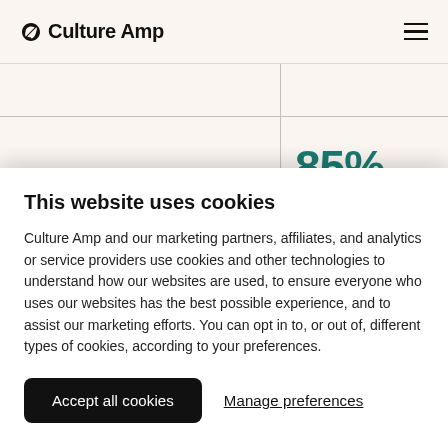Culture Amp
I am proud to work for [Company]
85% 1% below global
This website uses cookies
Culture Amp and our marketing partners, affiliates, and analytics or service providers use cookies and other technologies to understand how our websites are used, to ensure everyone who uses our websites has the best possible experience, and to assist our marketing efforts. You can opt in to, or out of, different types of cookies, according to your preferences.
Accept all cookies
Manage preferences